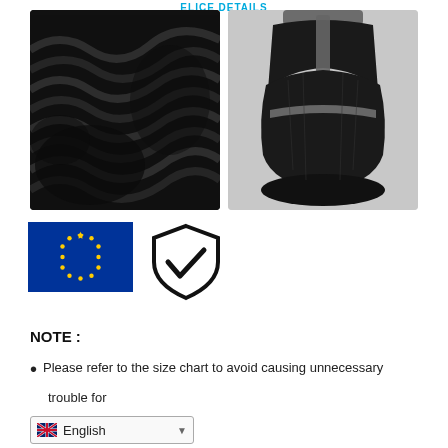ELICE DETAILS
[Figure (photo): Close-up of black shoe sole with wave/ridge pattern tread]
[Figure (photo): Back view of black safety shoe on white/grey background]
[Figure (infographic): EU flag, shield with checkmark, and certification text: ZERTIFIZIERTE SCHUHE CE ISO 20345]
NOTE :
Please refer to the size chart to avoid causing unnecessary trouble for
[Figure (screenshot): Language selector dropdown showing 'English' with UK flag]